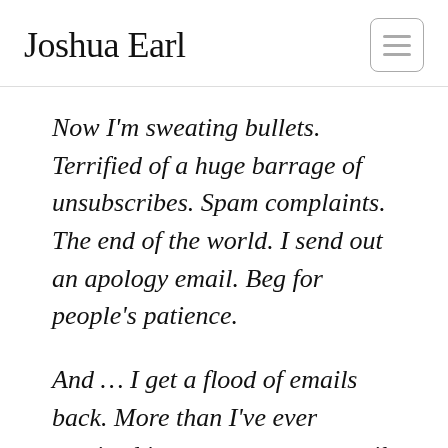Joshua Earl
Now I'm sweating bullets. Terrified of a huge barrage of unsubscribes. Spam complaints. The end of the world. I send out an apology email. Beg for people's patience.
And … I get a flood of emails back. More than I've ever received in response to an email campaign. People